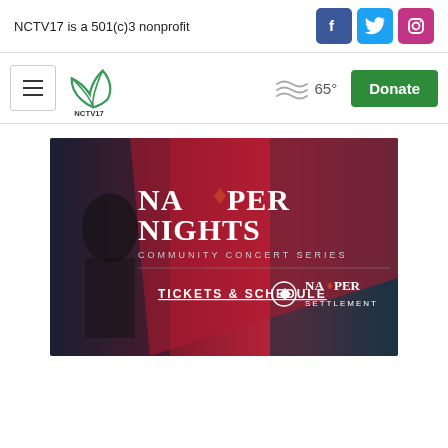NCTV17 is a 501(c)3 nonprofit
[Figure (logo): NCTV17 navigation bar with hamburger menu, NCTV17 logo, wavy weather icon, 65° temperature, and green Donate button]
[Figure (illustration): Naper Nights Community Concert Series advertisement banner with 'TICKETS & SCHEDULE' and 'NAPER SETTLEMENT' text on dark teal/navy background with performer silhouette]